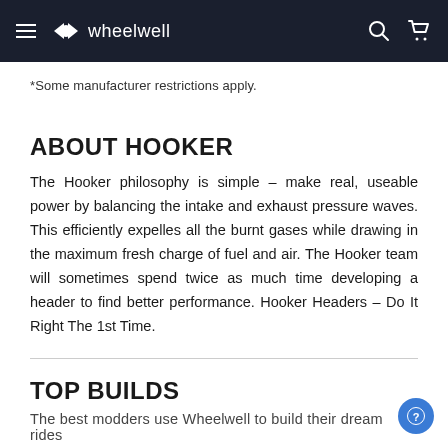wheelwell
*Some manufacturer restrictions apply.
ABOUT HOOKER
The Hooker philosophy is simple – make real, useable power by balancing the intake and exhaust pressure waves. This efficiently expelles all the burnt gases while drawing in the maximum fresh charge of fuel and air. The Hooker team will sometimes spend twice as much time developing a header to find better performance. Hooker Headers – Do It Right The 1st Time.
TOP BUILDS
The best modders use Wheelwell to build their dream rides